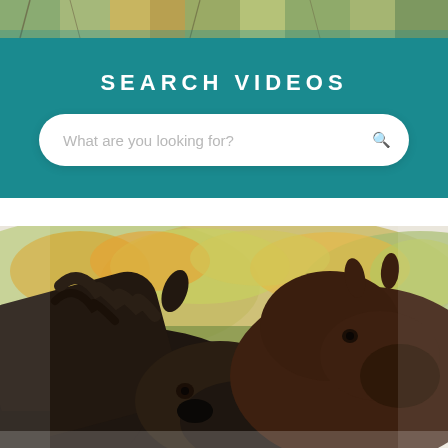[Figure (photo): Partial top strip showing outdoor nature scene with trees and foliage]
SEARCH VIDEOS
What are you looking for?
[Figure (photo): Two dark brown horses nuzzling each other in front of an autumn hillside with colorful foliage and a black fence in the background]